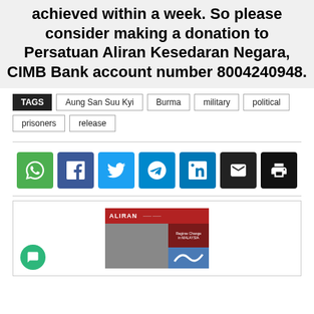achieved within a week. So please consider making a donation to Persatuan Aliran Kesedaran Negara, CIMB Bank account number 8004240948.
TAGS: Aung San Suu Kyi, Burma, military, political, prisoners, release
[Figure (infographic): Row of social share buttons: WhatsApp (green), Facebook (dark blue), Twitter (light blue), Telegram (blue), LinkedIn (darker blue), Email (black), Print (black)]
[Figure (screenshot): Screenshot of Aliran website showing red header banner with ALIRAN text, and two article images below — one showing people and another showing a wave graphic with 'Regime Change in Malaysia' text]